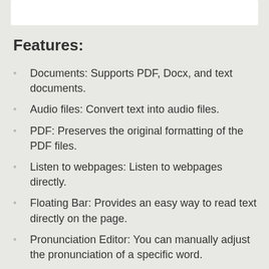Features:
Documents: Supports PDF, Docx, and text documents.
Audio files: Convert text into audio files.
PDF: Preserves the original formatting of the PDF files.
Listen to webpages: Listen to webpages directly.
Floating Bar: Provides an easy way to read text directly on the page.
Pronunciation Editor: You can manually adjust the pronunciation of a specific word.
Document synchronization: Send documents